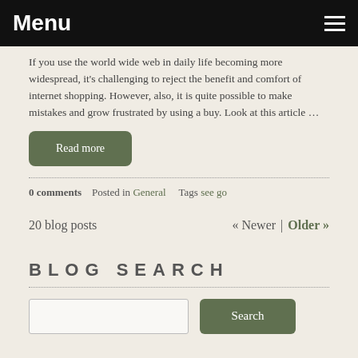Menu
If you use the world wide web in daily life becoming more widespread, it's challenging to reject the benefit and comfort of internet shopping. However, also, it is quite possible to make mistakes and grow frustrated by using a buy. Look at this article …
Read more
0 comments   Posted in General   Tags see go
20 blog posts   « Newer | Older »
BLOG SEARCH
Search